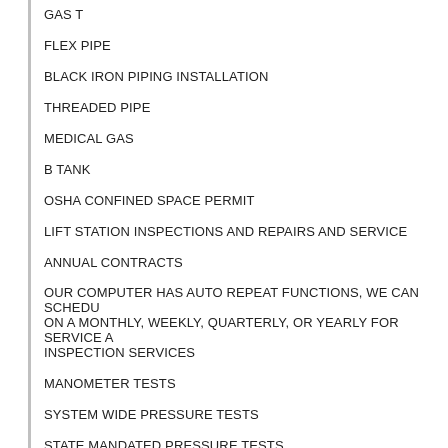GAS T
FLEX PIPE
BLACK IRON PIPING INSTALLATION
THREADED PIPE
MEDICAL GAS
B TANK
OSHA CONFINED SPACE PERMIT
LIFT STATION INSPECTIONS AND REPAIRS AND SERVICE
ANNUAL CONTRACTS
OUR COMPUTER HAS AUTO REPEAT FUNCTIONS, WE CAN SCHEDULE ON A MONTHLY, WEEKLY, QUARTERLY, OR YEARLY FOR SERVICE AND INSPECTION SERVICES
MANOMETER TESTS
SYSTEM WIDE PRESSURE TESTS
STATE MANDATED PRESSURE TESTS
MIDWEST 830
SEPTIC - DRAIN FIELDS - DOZING TANKS, LEACH FIELDS